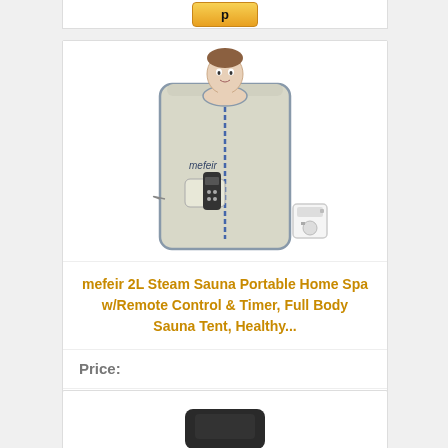[Figure (screenshot): Partial top of a product card showing a Buy on Amazon button (golden/yellow), clipped at top of page.]
[Figure (photo): Photo of mefeir portable steam sauna tent: a silver/gray tent with blue zipper, a woman's head visible at top, holding a remote control, with a small steam generator unit beside it. Brand text 'mefeir' visible on tent.]
mefeir 2L Steam Sauna Portable Home Spa w/Remote Control & Timer, Full Body Sauna Tent, Healthy...
Price:
Buy on Amazon
[Figure (photo): Bottom of another product card, partially visible, showing a dark-colored product image at the bottom of the page.]